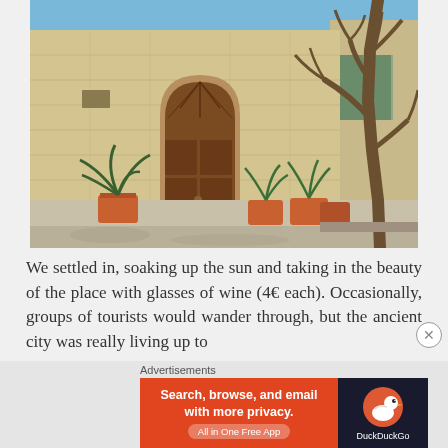[Figure (photo): Photograph of a historic stone building facade with a large arched wooden double door, terracotta potted palm plants on either side, a bare twisted tree on the right, and a blue sky above. The building is made of light limestone blocks typical of Mediterranean architecture.]
We settled in, soaking up the sun and taking in the beauty of the place with glasses of wine (4€ each). Occasionally, groups of tourists would wander through, but the ancient city was really living up to
[Figure (other): Advertisement banner for DuckDuckGo: 'Search, browse, and email with more privacy. All in One Free App' with DuckDuckGo logo and duck icon on dark background.]